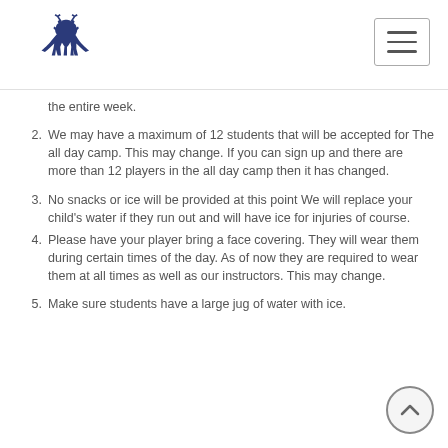Deer logo and navigation menu
the entire week.
2. We may have a maximum of 12 students that will be accepted for The all day camp. This may change.  If you can sign up and there are more than 12 players in the all day camp then it has changed.
3. No snacks or ice will be provided at this point  We will replace your child's water if they run out and will have ice for injuries of course.
4. Please have your player bring a face covering.  They will wear them during certain times of the day. As of now they are required to wear them at all times as well as our instructors.  This may change.
5. Make sure students have a large jug of water with ice.